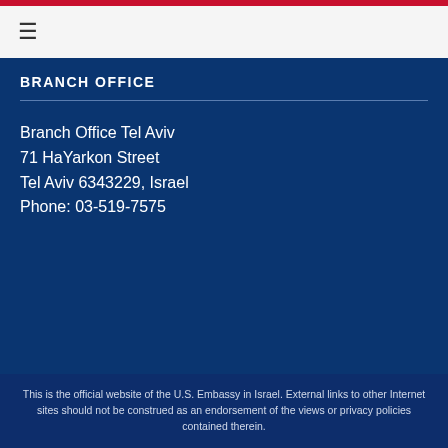☰
BRANCH OFFICE
Branch Office Tel Aviv
71 HaYarkon Street
Tel Aviv 6343229, Israel
Phone: 03-519-7575
This is the official website of the U.S. Embassy in Israel. External links to other Internet sites should not be construed as an endorsement of the views or privacy policies contained therein.